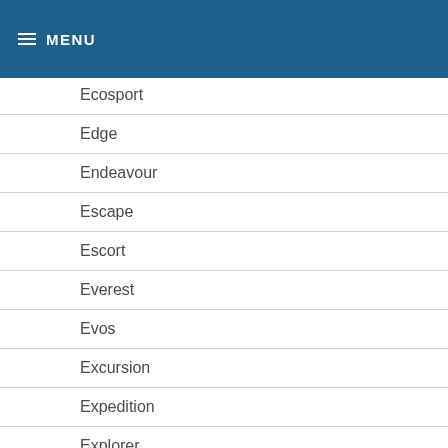MENU
Ecosport
Edge
Endeavour
Escape
Escort
Everest
Evos
Excursion
Expedition
Explorer
F-100
F-150